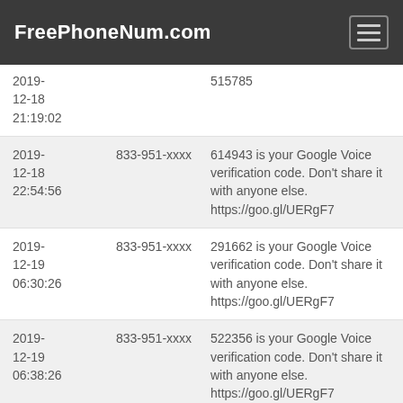FreePhoneNum.com
| Date | Number | Message |
| --- | --- | --- |
| 2019-12-18 21:19:02 |  | 515785 |
| 2019-12-18 22:54:56 | 833-951-xxxx | 614943 is your Google Voice verification code. Don't share it with anyone else. https://goo.gl/UERgF7 |
| 2019-12-19 06:30:26 | 833-951-xxxx | 291662 is your Google Voice verification code. Don't share it with anyone else. https://goo.gl/UERgF7 |
| 2019-12-19 06:38:26 | 833-951-xxxx | 522356 is your Google Voice verification code. Don't share it with anyone else. https://goo.gl/UERgF7 |
| 2019-12-19 10:00:04 | 833-951-xxxx | 179155 is your Google Voice verification code. Don't share it with anyone else. https://goo.gl/UERgF7 |
| 2019-12-19 11:15:34 | 833-951-xxxx | inin hesapta oturum açmasını engelledi. Daha fazla bilgi edinin: g |